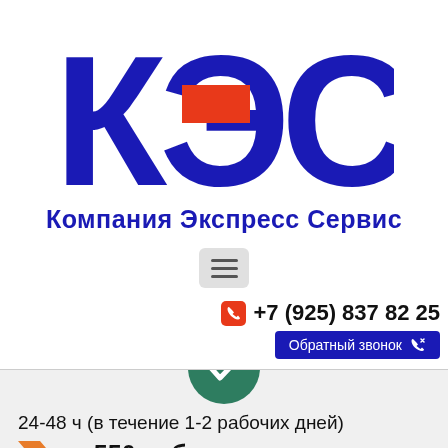[Figure (logo): КЭС logo — large dark blue Cyrillic letters К, Э, С with a red horizontal rectangle overlaid on the middle of Э]
Компания Экспресс Сервис
[Figure (other): Hamburger menu button (three horizontal lines) on a light grey rounded rectangle background]
+7 (925) 837 82 25
Обратный звонок
[Figure (other): Partial green circle/icon at top of bottom grey section]
24-48 ч (в течение 1-2 рабочих дней)
от 550 руб